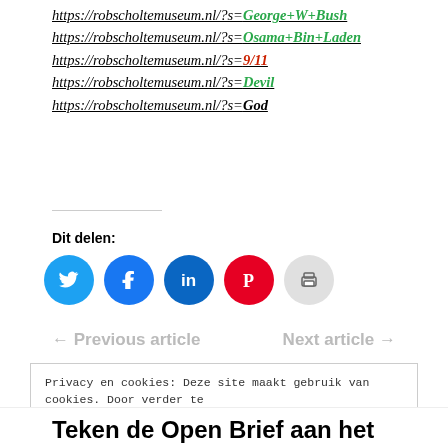https://robscholtemuseum.nl/?s=George+W+Bush
https://robscholtemuseum.nl/?s=Osama+Bin+Laden
https://robscholtemuseum.nl/?s=9/11
https://robscholtemuseum.nl/?s=Devil
https://robscholtemuseum.nl/?s=God
Dit delen:
[Figure (infographic): Social share buttons: Twitter (blue), Facebook (blue), LinkedIn (dark blue), Pinterest (red), Print (grey)]
← Previous article    Next article →
Privacy en cookies: Deze site maakt gebruik van cookies. Door verder te gaan op deze site, ga je akkoord met het gebruik hiervan. Voor meer informatie, onder andere over cookiebeheer, bekijk je: Cookiebeleid robscholtemuseum.nl
Sluiten en bevestigen
Teken de Open Brief aan het